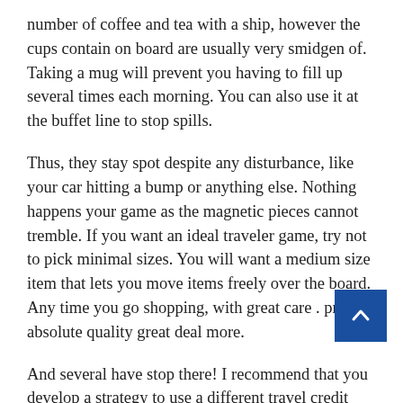number of coffee and tea with a ship, however the cups contain on board are usually very smidgen of. Taking a mug will prevent you having to fill up several times each morning. You can also use it at the buffet line to stop spills.
Thus, they stay spot despite any disturbance, like your car hitting a bump or anything else. Nothing happens your game as the magnetic pieces cannot tremble. If you want an ideal traveler game, try not to pick minimal sizes. You will want a medium size item that lets you move items freely over the board. Any time you go shopping, with great care . prices, absolute quality great deal more.
And several have stop there! I recommend that you develop a strategy to use a different travel credit card(s) periodically, so which start to accumulate points with numerous airline companies (e.g. Southwest, United, etc),